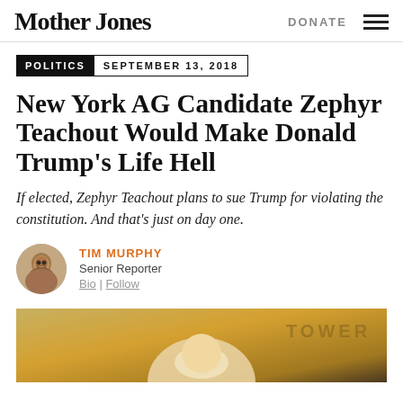Mother Jones | DONATE
POLITICS  SEPTEMBER 13, 2018
New York AG Candidate Zephyr Teachout Would Make Donald Trump's Life Hell
If elected, Zephyr Teachout plans to sue Trump for violating the constitution. And that's just on day one.
TIM MURPHY
Senior Reporter
Bio | Follow
[Figure (photo): Partial photo of a blonde woman, likely Zephyr Teachout, with a golden/warm-toned background showing partial text 'TOWER']